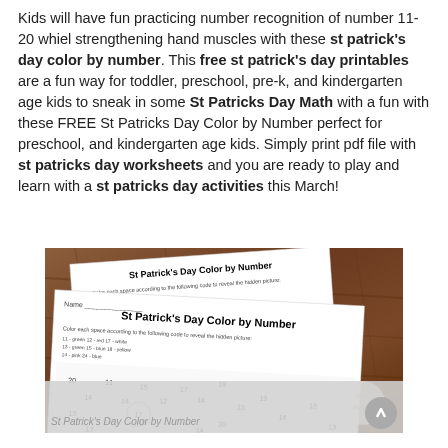Kids will have fun practicing number recognition of number 11-20 whiel strengthening hand muscles with these st patrick's day color by number. This free st patrick's day printables are a fun way for toddler, preschool, pre-k, and kindergarten age kids to sneak in some St Patricks Day Math with a fun with these FREE St Patricks Day Color by Number perfect for preschool, and kindergarten age kids. Simply print pdf file with st patricks day worksheets and you are ready to play and learn with a st patricks day activities this March!
[Figure (photo): Two St Patrick's Day Color by Number worksheets laid on a wooden table. The worksheets show shamrock/clover coloring pages with numbers in sections. The top worksheet is partially behind the second one. Both have the title 'St Patrick's Day Color by Number' and color key instructions.]